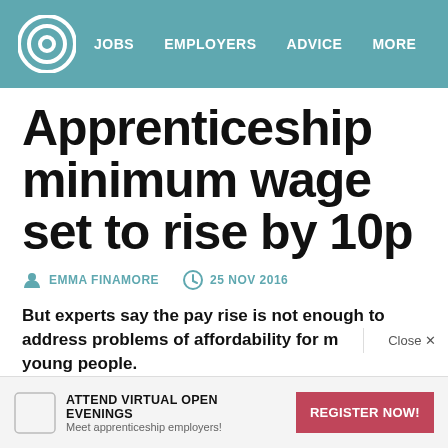JOBS   EMPLOYERS   ADVICE   MORE
Apprenticeship minimum wage set to rise by 10p
EMMA FINAMORE   25 NOV 2016
But experts say the pay rise is not enough to address problems of affordability for many young people.
ATTEND VIRTUAL OPEN EVENINGS — Meet apprenticeship employers!   REGISTER NOW!